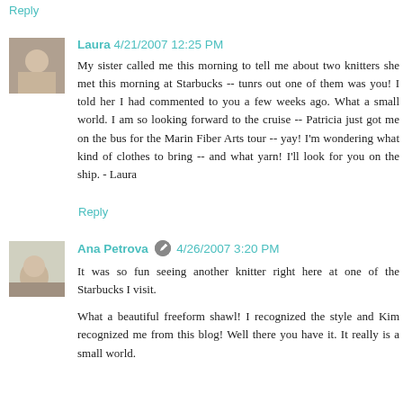Reply
Laura 4/21/2007 12:25 PM
My sister called me this morning to tell me about two knitters she met this morning at Starbucks -- tunrs out one of them was you! I told her I had commented to you a few weeks ago. What a small world. I am so looking forward to the cruise -- Patricia just got me on the bus for the Marin Fiber Arts tour -- yay! I'm wondering what kind of clothes to bring -- and what yarn! I'll look for you on the ship. - Laura
Reply
Ana Petrova 4/26/2007 3:20 PM
It was so fun seeing another knitter right here at one of the Starbucks I visit.
What a beautiful freeform shawl! I recognized the style and Kim recognized me from this blog! Well there you have it. It really is a small world.